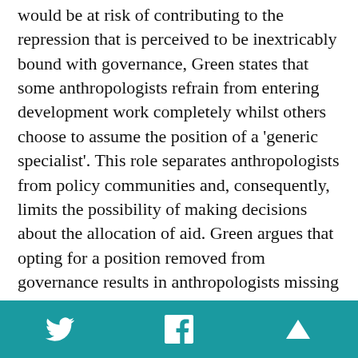would be at risk of contributing to the repression that is perceived to be inextricably bound with governance, Green states that some anthropologists refrain from entering development work completely whilst others choose to assume the position of a 'generic specialist'. This role separates anthropologists from policy communities and, consequently, limits the possibility of making decisions about the allocation of aid. Green argues that opting for a position removed from governance results in anthropologists missing out on an opportunity to contribute to global processes of reordering. For Green, the crucial insight anthropology can offer on the lives of aid recipients is not fully utilised. She draws attention to the potentiality of governance and its ability to produce significant and positive change. From this, to consider 'rethinking development', we explored the extent to which the anthropological method could link development expertise and local lived
Twitter Facebook Up